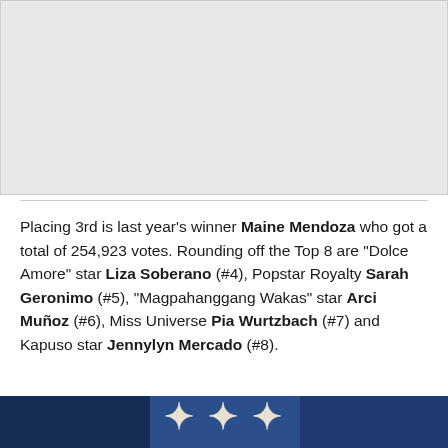[Figure (photo): Gray placeholder image area at top of page]
Placing 3rd is last year's winner Maine Mendoza who got a total of 254,923 votes. Rounding off the Top 8 are “Dolce Amore” star Liza Soberano (#4), Popstar Royalty Sarah Geronimo (#5), “Magpahanggang Wakas” star Arci Muñoz (#6), Miss Universe Pia Wurtzbach (#7) and Kapuso star Jennylyn Mercado (#8).
[Figure (photo): Partial image visible at bottom of page with blue tones]